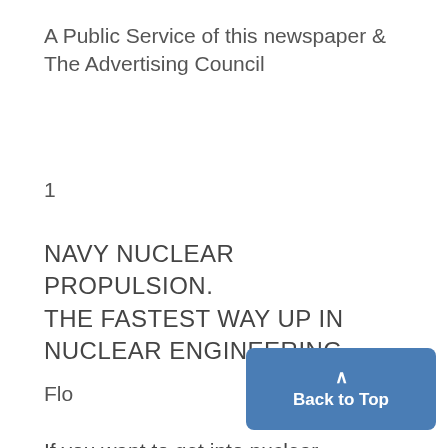A Public Service of this newspaper & The Advertising Council
1
NAVY NUCLEAR PROPULSION. THE FASTEST WAY UP IN NUCLEAR ENGINEERING.
Flo
If you want to get into nuclear engineering, start by getting in the Nuclear Navy.